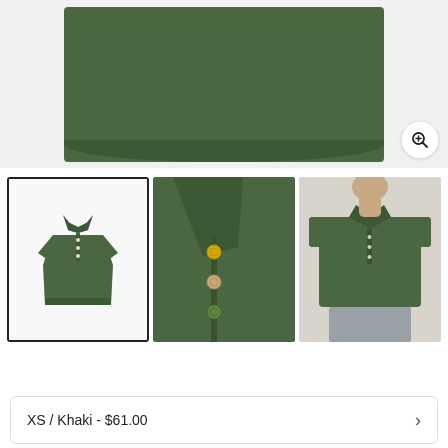[Figure (photo): Close-up of green khaki polo shirt bottom hem on light grey background with zoom icon]
[Figure (photo): Three thumbnail images of a green khaki polo shirt: full product shot (selected), collar and buttons close-up, and model wearing the shirt]
[Figure (infographic): Carousel dots navigation: first dot active (outline), followed by 7 filled grey dots, and a dark circular scroll-to-top button with up arrow]
XS / Khaki - $61.00